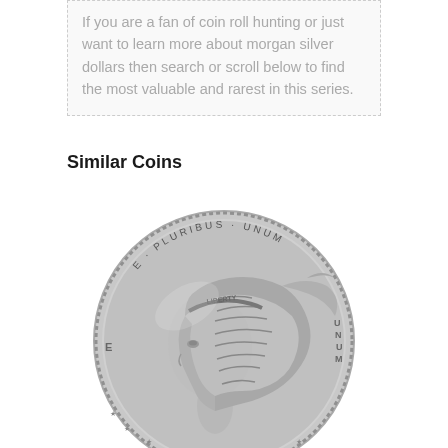If you are a fan of coin roll hunting or just want to learn more about morgan silver dollars then search or scroll below to find the most valuable and rarest in this series.
Similar Coins
[Figure (photo): Close-up photograph of the obverse (heads) side of a Morgan Silver Dollar coin, showing Lady Liberty in profile facing left, with the inscription E PLURIBUS UNUM along the top edge, stars around the rim, and detailed hair and eagle feather motifs.]